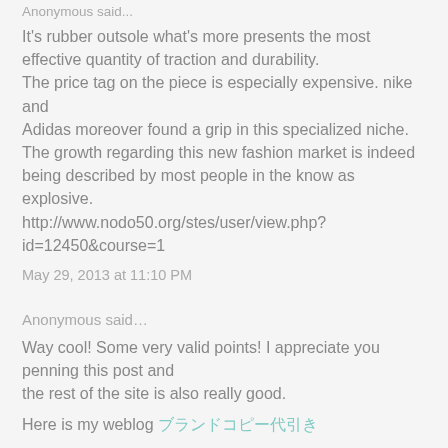Anonymous said...
It's rubber outsole what's more presents the most effective quantity of traction and durability.
The price tag on the piece is especially expensive. nike and
Adidas moreover found a grip in this specialized niche.
The growth regarding this new fashion market is indeed being described by most people in the know as explosive.
http://www.nodo50.org/stes/user/view.php?id=12450&course=1
May 29, 2013 at 11:10 PM
Anonymous said…
Way cool! Some very valid points! I appreciate you penning this post and
the rest of the site is also really good.
Here is my weblog ブランドコピー代引き
May 30, 2013 at 1:53 AM